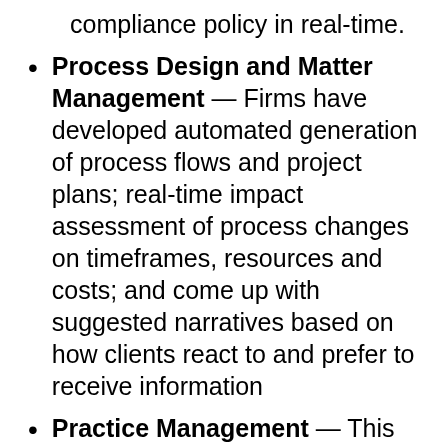compliance policy in real-time.
Process Design and Matter Management — Firms have developed automated generation of process flows and project plans; real-time impact assessment of process changes on timeframes, resources and costs; and come up with suggested narratives based on how clients react to and prefer to receive information
Practice Management — This involves benchmarking across practice areas for comparable tasks from document production through to completion of key stages in a matter; identifying potential human resource challenges using social media sentiment analysis of comments; and providing dynamic modelling of alternative